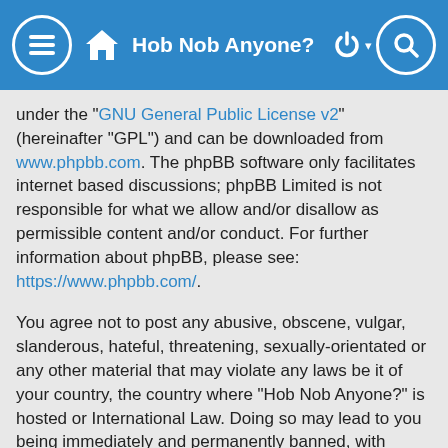Hob Nob Anyone?
under the “GNU General Public License v2” (hereinafter “GPL”) and can be downloaded from www.phpbb.com. The phpBB software only facilitates internet based discussions; phpBB Limited is not responsible for what we allow and/or disallow as permissible content and/or conduct. For further information about phpBB, please see: https://www.phpbb.com/.
You agree not to post any abusive, obscene, vulgar, slanderous, hateful, threatening, sexually-orientated or any other material that may violate any laws be it of your country, the country where “Hob Nob Anyone?” is hosted or International Law. Doing so may lead to you being immediately and permanently banned, with notification of your Internet Service Provider if deemed required by us. The IP address of all posts are recorded to aid in enforcing these conditions. You agree that “Hob Nob Anyone?” have the right to remove, edit, move or close any topic at any time should we see fit. As a user you agree to any information you have entered to being stored in a database. While this information will not be disclosed to any third party without your consent, neither “Hob Nob Anyone?” nor phpBB shall be held...